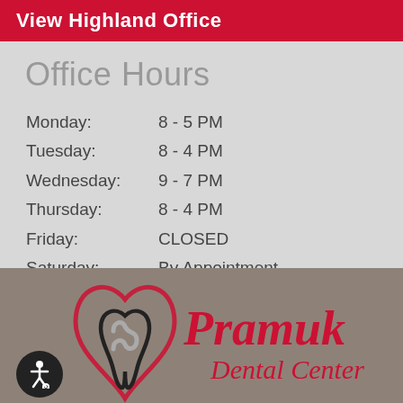View Highland Office
Office Hours
Monday:    8 - 5 PM
Tuesday:   8 - 4 PM
Wednesday: 9 - 7 PM
Thursday:  8 - 4 PM
Friday:    CLOSED
Saturday:  By Appointment
Sunday:    CLOSED
[Figure (logo): Pramuk Dental Center logo with heart/tooth shape and accessibility icon]